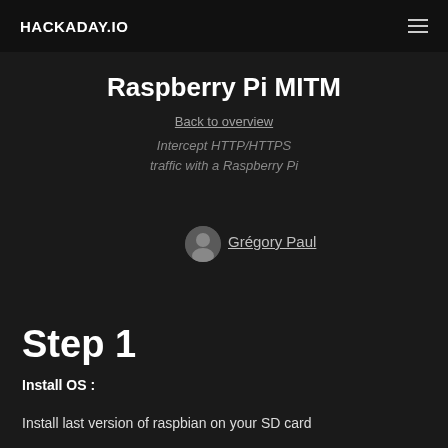HACKADAY.IO
Raspberry Pi MITM
Back to overview
Intercept HTTP/HTTPS traffic with a Raspberry Pi
Grégory Paul
Step 1
Install OS :
Install last version of raspbian on your SD card